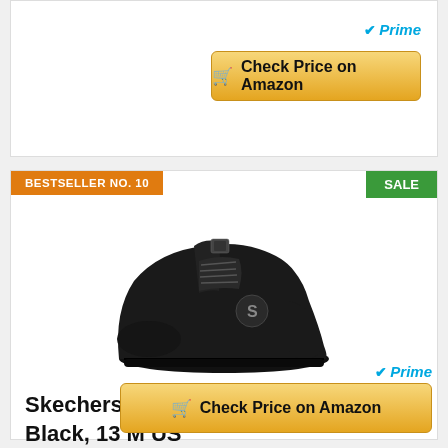[Figure (other): Amazon Prime logo with blue checkmark and italic Prime text]
Check Price on Amazon
BESTSELLER NO. 10
SALE
[Figure (photo): Black Skechers Men's Flex Advantage Sr sneaker/shoe photographed on white background, side view showing laces, S logo, and chunky sole]
Skechers Men's Flex Advantage Sr, Black, 13 M US
[Figure (other): Amazon Prime logo with blue checkmark and italic Prime text]
Check Price on Amazon